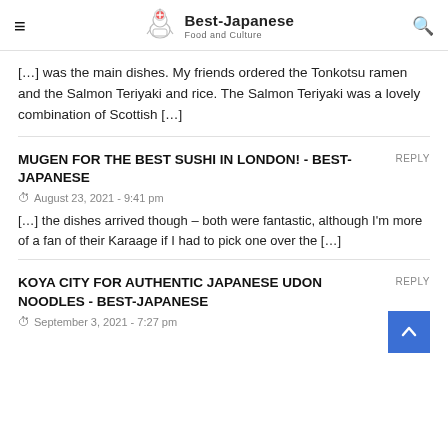Best-Japanese Food and Culture
[…] was the main dishes. My friends ordered the Tonkotsu ramen and the Salmon Teriyaki and rice. The Salmon Teriyaki was a lovely combination of Scottish […]
MUGEN FOR THE BEST SUSHI IN LONDON! - BEST JAPANESE
August 23, 2021 - 9:41 pm
[…] the dishes arrived though – both were fantastic, although I'm more of a fan of their Karaage if I had to pick one over the […]
KOYA CITY FOR AUTHENTIC JAPANESE UDON NOODLES - BEST-JAPANESE
September 3, 2021 - 7:27 pm